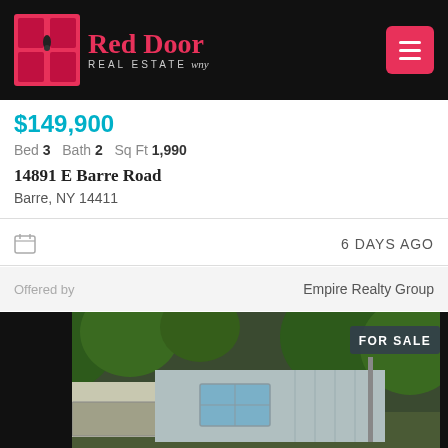Red Door Real Estate WNY
$149,900
Bed 3   Bath 2   Sq Ft 1,990
14891 E Barre Road
Barre, NY 14411
6 DAYS AGO
Offered by   Empire Realty Group
[Figure (photo): Exterior photo of a mobile/manufactured home with a garage addition, surrounded by trees. A 'FOR SALE' badge appears in the upper right corner of the photo.]